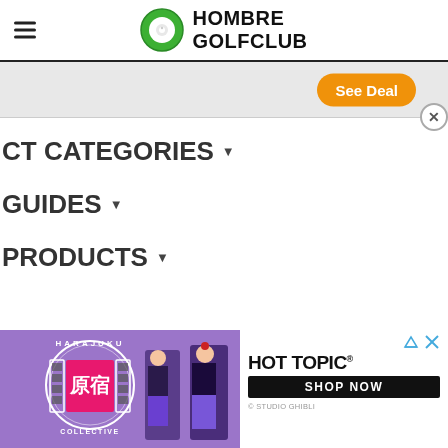HOMBRE GOLFCLUB
[Figure (screenshot): Orange 'See Deal' button with close X button on a light gray ad banner]
CT CATEGORIES ▾
GUIDES ▾
PRODUCTS ▾
[Figure (illustration): Harajuku Collective logo with two costumed figures on purple background]
[Figure (screenshot): Hot Topic advertisement with SHOP NOW button and © Studio Ghibli credit]